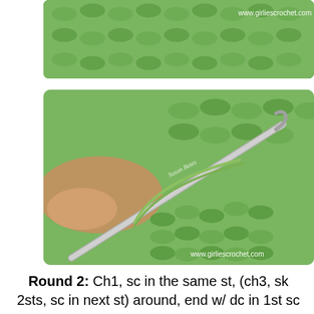[Figure (photo): Close-up photo of green crochet work showing yarn texture and stitch pattern with watermark www.girliescrochet.com]
[Figure (photo): Photo of a hand holding a silver crochet hook working into green crochet stitches, showing the lacy pattern being formed, with watermark www.girliescrochet.com]
Round 2: Ch1, sc in the same st, (ch3, sk 2sts, sc in next st) around, end w/ dc in 1st sc